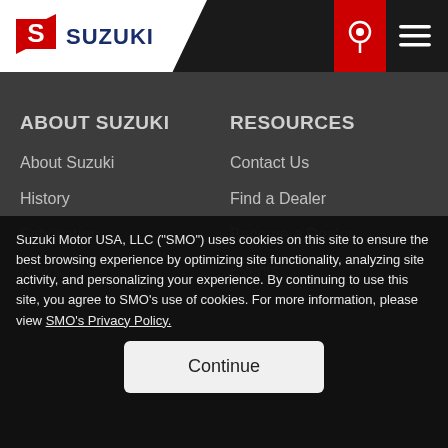[Figure (logo): Suzuki logo with red S emblem and SUZUKI text in dark blue]
ABOUT SUZUKI
About Suzuki
History
Fabrication
News
RESOURCES
Contact Us
Find a Dealer
Become a Dealer
Events
Suzuki Motor USA, LLC ("SMO") uses cookies on this site to ensure the best browsing experience by optimizing site functionality, analyzing site activity, and personalizing your experience. By continuing to use this site, you agree to SMO's use of cookies. For more information, please view SMO's Privacy Policy.
Continue